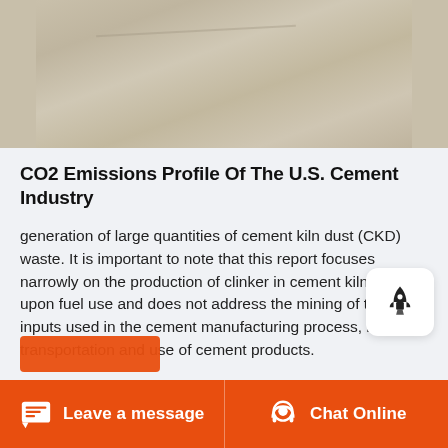[Figure (photo): Close-up photo of cement/concrete surface texture in beige/tan tones]
CO2 Emissions Profile Of The U.S. Cement Industry
generation of large quantities of cement kiln dust (CKD) waste. It is important to note that this report focuses narrowly on the production of clinker in cement kiln and upon fuel use and does not address the mining of the inputs used in the cement manufacturing process, nor the transportation and use of cement products.
Leave a message   Chat Online